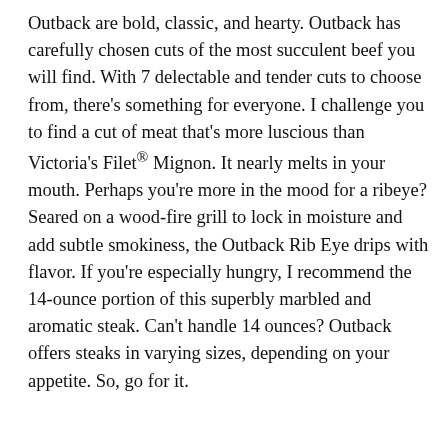Outback are bold, classic, and hearty. Outback has carefully chosen cuts of the most succulent beef you will find. With 7 delectable and tender cuts to choose from, there's something for everyone. I challenge you to find a cut of meat that's more luscious than Victoria's Filet® Mignon. It nearly melts in your mouth. Perhaps you're more in the mood for a ribeye? Seared on a wood-fire grill to lock in moisture and add subtle smokiness, the Outback Rib Eye drips with flavor. If you're especially hungry, I recommend the 14-ounce portion of this superbly marbled and aromatic steak. Can't handle 14 ounces? Outback offers steaks in varying sizes, depending on your appetite. So, go for it.